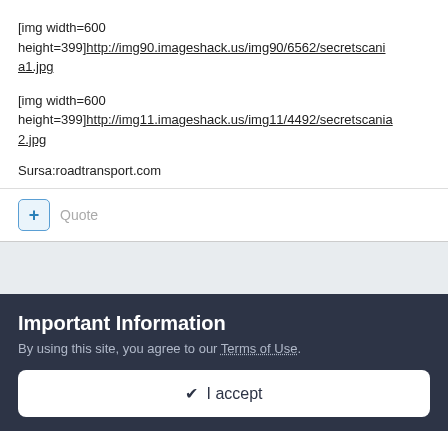[img width=600 height=399]http://img90.imageshack.us/img90/6562/secretscania1.jpg
[img width=600 height=399]http://img11.imageshack.us/img11/4492/secretscania2.jpg
Sursa:roadtransport.com
Quote
Important Information
By using this site, you agree to our Terms of Use.
I accept